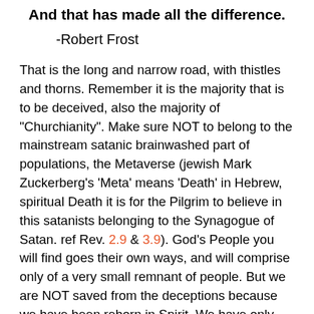And that has made all the difference.
-Robert Frost
That is the long and narrow road, with thistles and thorns. Remember it is the majority that is to be deceived, also the majority of "Churchianity". Make sure NOT to belong to the mainstream satanic brainwashed part of populations, the Metaverse (jewish Mark Zuckerberg's 'Meta' means 'Death' in Hebrew, spiritual Death it is for the Pilgrim to believe in this satanists belonging to the Synagogue of Satan. ref Rev. 2.9 & 3.9). God's People you will find goes their own ways, and will comprise only of a very small remnant of people. But we are NOT saved from the deceptions because we have been reborn in Spirit. We have only got the Spirit making us better to avoid the pitfalls. Just after being reborn we were all